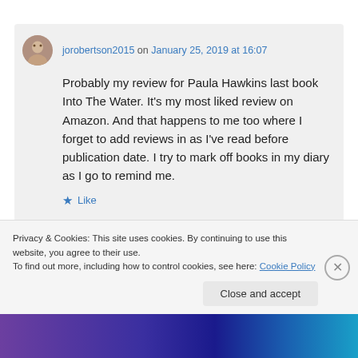jorobertson2015 on January 25, 2019 at 16:07
Probably my review for Paula Hawkins last book Into The Water. It's my most liked review on Amazon. And that happens to me too where I forget to add reviews in as I've read before publication date. I try to mark off books in my diary as I go to remind me.
Like
Privacy & Cookies: This site uses cookies. By continuing to use this website, you agree to their use. To find out more, including how to control cookies, see here: Cookie Policy
Close and accept